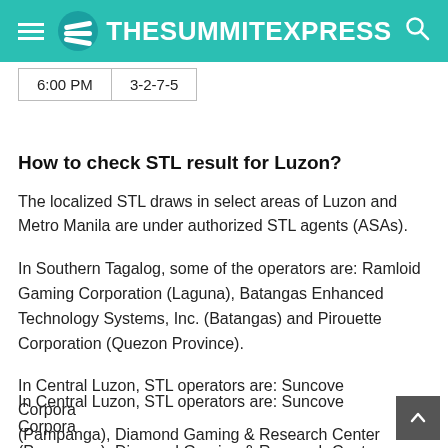TheSummitExpress
| 6:00 PM | 3-2-7-5 |
How to check STL result for Luzon?
The localized STL draws in select areas of Luzon and Metro Manila are under authorized STL agents (ASAs).
In Southern Tagalog, some of the operators are: Ramloid Gaming Corporation (Laguna), Batangas Enhanced Technology Systems, Inc. (Batangas) and Pirouette Corporation (Quezon Province).
In Central Luzon, STL operators are: Suncove Corporation (Pampanga), Diamond Gaming & Research Center